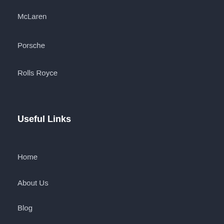McLaren
Porsche
Rolls Royce
Useful Links
Home
About Us
Blog
Faq
Trusted by